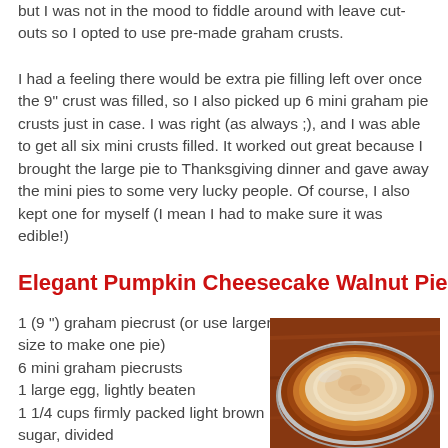but I was not in the mood to fiddle around with leave cut-outs so I opted to use pre-made graham crusts.
I had a feeling there would be extra pie filling left over once the 9" crust was filled, so I also picked up 6 mini graham pie crusts just in case. I was right (as always ;), and I was able to get all six mini crusts filled. It worked out great because I brought the large pie to Thanksgiving dinner and gave away the mini pies to some very lucky people. Of course, I also kept one for myself (I mean I had to make sure it was edible!)
Elegant Pumpkin Cheesecake Walnut Pie
1 (9 ") graham piecrust (or use larger size to make one pie)
6 mini graham piecrusts
1 large egg, lightly beaten
1 1/4 cups firmly packed light brown sugar, divided
1 cup walnuts, finely chopped and toasted
3 tablespoons butter or
[Figure (photo): A pumpkin cheesecake walnut pie in a silver graham cracker crust on a wooden surface, with a light cream-colored filling dusted with spice on top.]